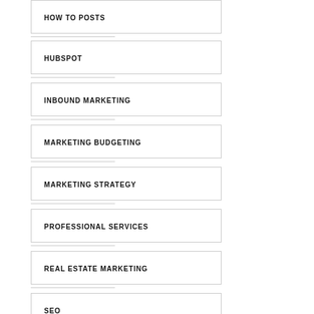HOW TO POSTS
HUBSPOT
INBOUND MARKETING
MARKETING BUDGETING
MARKETING STRATEGY
PROFESSIONAL SERVICES
REAL ESTATE MARKETING
SEO